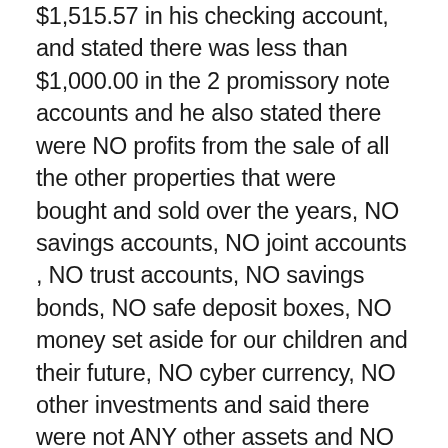$1,515.57 in his checking account, and stated there was less than $1,000.00 in the 2 promissory note accounts and he also stated there were NO profits from the sale of all the other properties that were bought and sold over the years, NO savings accounts, NO joint accounts , NO trust accounts, NO savings bonds, NO safe deposit boxes, NO money set aside for our children and their future, NO cyber currency, NO other investments and said there were not ANY other assets and NO additional money at all. YES!! HE ACTUALLY SAID THERE WASN'T ANY MONEY TO DIVIDE and no other assets!! NOTHING!! ZERO!! How could anybody believe that to even possibly be true with a 6 figure income, all the real estate investments and after 24 years of marriage? Really, Nothing? No